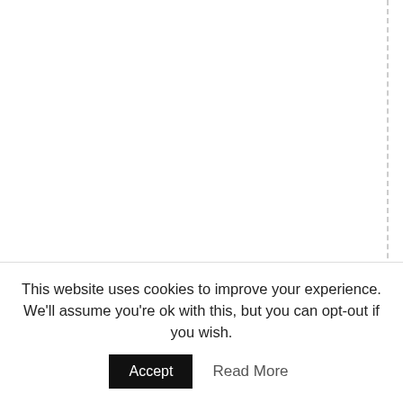, courtesy of Mother Earth.
[Figure (screenshot): Four social sharing icons stacked vertically: Facebook (blue with f), Twitter (light blue with bird), LinkedIn (dark blue with 'in'), Email (gray with envelope)]
May 11th, 2018 |
This website uses cookies to improve your experience. We'll assume you're ok with this, but you can opt-out if you wish.